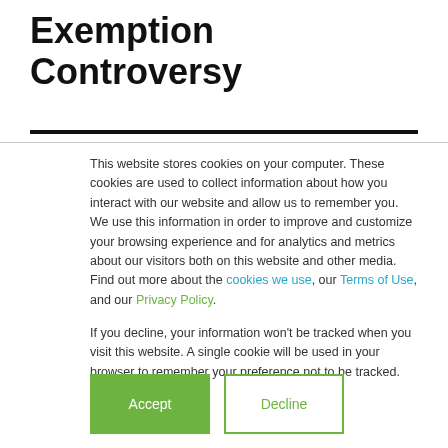Exemption Controversy
This website stores cookies on your computer. These cookies are used to collect information about how you interact with our website and allow us to remember you. We use this information in order to improve and customize your browsing experience and for analytics and metrics about our visitors both on this website and other media. Find out more about the cookies we use, our Terms of Use, and our Privacy Policy.
If you decline, your information won't be tracked when you visit this website. A single cookie will be used in your browser to remember your preference not to be tracked.
Accept | Decline